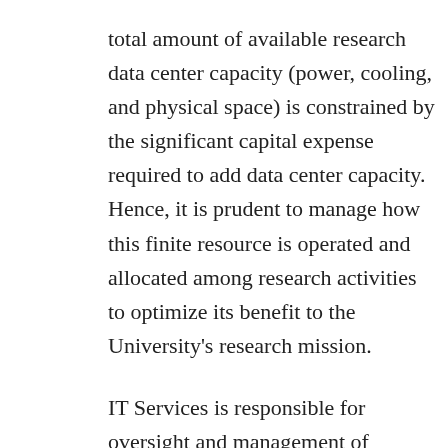total amount of available research data center capacity (power, cooling, and physical space) is constrained by the significant capital expense required to add data center capacity. Hence, it is prudent to manage how this finite resource is operated and allocated among research activities to optimize its benefit to the University's research mission.
IT Services is responsible for oversight and management of campus data centers, and the Research Computing Center (RCC) provides hardware, software, and customized support for University research computing. The data centers host shared computing and storage